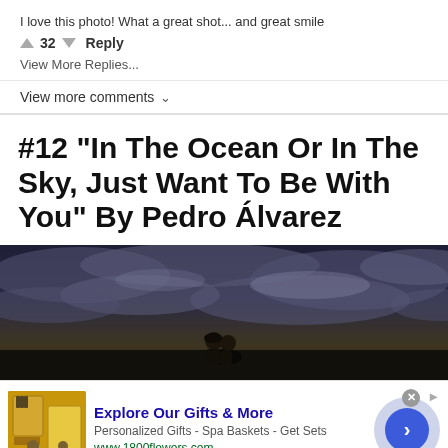I love this photo! What a great shot... and great smile
32  Reply
View More Replies...
View more comments ∨
#12 "In The Ocean Or In The Sky, Just Want To Be With You" By Pedro Álvarez
[Figure (photo): Dramatic dark stormy sky with clouds, couple silhouetted below kissing, ocean setting]
[Figure (other): Advertisement for 1800flowers.com - Explore Our Gifts & More. Personalized Gifts - Spa Baskets - Get Sets. Shows gift products with carousel navigation button.]